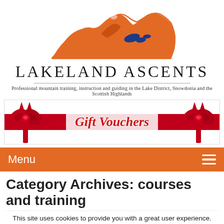[Figure (logo): Lakeland Ascents mountain logo — orange mountain silhouette with blue lake details and orange line art]
LAKELAND ASCENTS
Professional mountain training, instruction and guiding in the Lake District, Snowdonia and the Scottish Highlands
[Figure (illustration): Gift Vouchers banner with red ribbon and two red bows on left and right, text 'Gift Vouchers' in red italic]
Menu
Category Archives: courses and training
This site uses cookies to provide you with a great user experience. By using Lakeland Ascents, you accept our use of cookies.